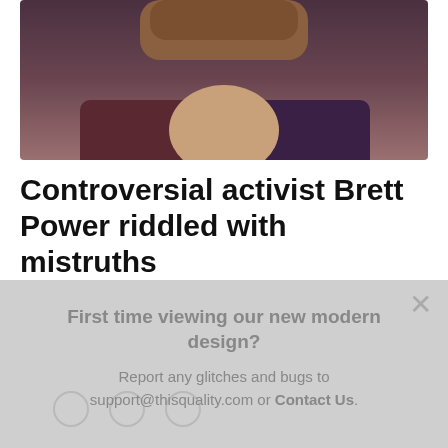[Figure (photo): Partial photo of a person showing neck and collar area, wearing a dark reddish-brown shirt]
Controversial activist Brett Power riddled with mistruths
First time viewing our new modern design?

Report any glitches and bugs to support@thisquality.com or Contact Us.